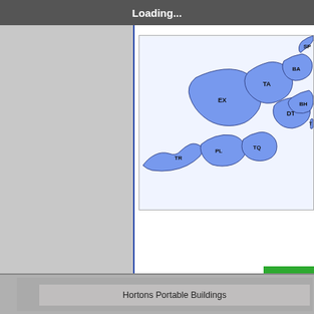Loading...
[Figure (map): Map of South West England showing postal code regions including TR, PL, TQ, EX, TA, BA, SP, BH, DT, TQ labels on blue regions]
Available N
All Prices
Log Cabins | 2.5mx2.5m s
Hortons Portable Buildings